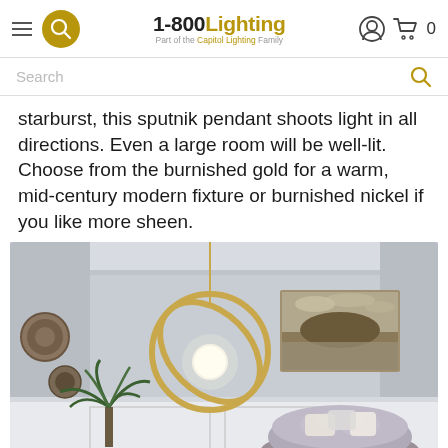1-800Lighting — Part of the Capitol Lighting Family | hamburger menu, search circle, account icon, cart 0
Search
starburst, this sputnik pendant shoots light in all directions. Even a large room will be well-lit. Choose from the burnished gold for a warm, mid-century modern fixture or burnished nickel if you like more sheen.
[Figure (photo): A gold circular pendant light fixture hanging in a room corner with grey walls, a sepia landscape painting, decorative round mirrors, a plant and a fluffy chair with pillows.]